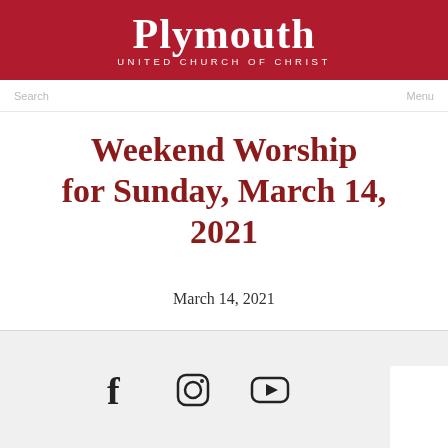Plymouth UNITED CHURCH OF CHRIST
Search   Menu
Weekend Worship for Sunday, March 14, 2021
March 14, 2021
Social media icons: Facebook, Instagram, YouTube